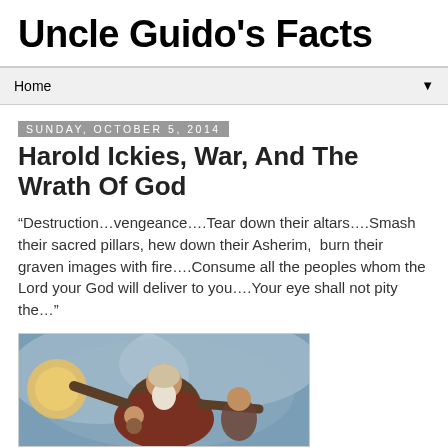Uncle Guido's Facts
Home
Sunday, October 5, 2014
Harold Ickies, War, And The Wrath Of God
“Destruction…vengeance….Tear down their altars….Smash their sacred pillars, hew down their Asherim,  burn their graven images with fire….Consume all the peoples whom the Lord your God will deliver to you….Your eye shall not pity the…”
[Figure (illustration): Classical painting (Michelangelo style) depicting a bearded elderly man resembling God with arms outstretched against a cloudy sky background]